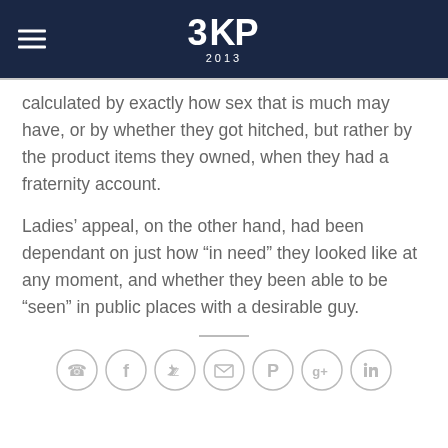3KP 2013
calculated by exactly how sex that is much may have, or by whether they got hitched, but rather by the product items they owned, when they had a fraternity account.
Ladies’ appeal, on the other hand, had been dependant on just how “in need” they looked like at any moment, and whether they been able to be “seen” in public places with a desirable guy.
[Figure (other): Social share icons: phone, facebook, twitter, email, pinterest, google plus, linkedin]